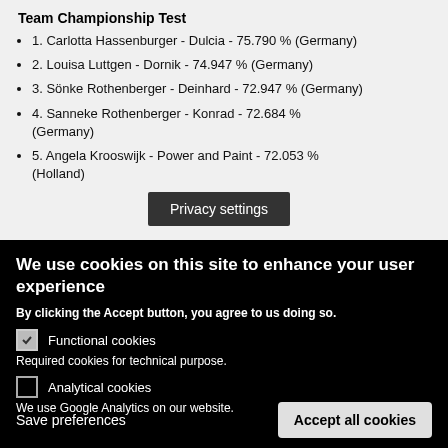Team Championship Test
1. Carlotta Hassenburger - Dulcia - 75.790 % (Germany)
2. Louisa Luttgen - Dornik - 74.947 % (Germany)
3. Sönke Rothenberger - Deinhard - 72.947 % (Germany)
4. Sanneke Rothenberger - Konrad - 72.684 % (Germany)
5. Angela Krooswijk - Power and Paint - 72.053 % (Holland)
Privacy settings
We use cookies on this site to enhance your user experience
By clicking the Accept button, you agree to us doing so.
Functional cookies
Required cookies for technical purpose.
Analytical cookies
We use Google Analytics on our website.
Save preferences
Accept all cookies